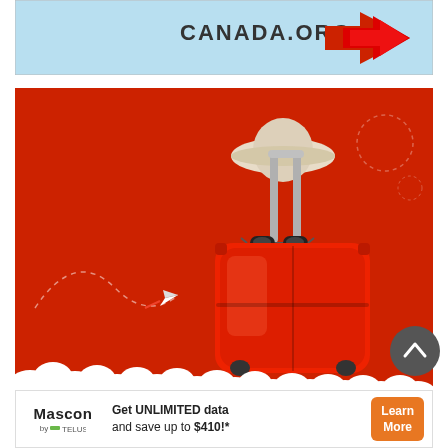[Figure (illustration): Top advertisement banner with light blue background showing CANADA.ORG text and a red arrow/logo on the right side]
[Figure (illustration): Travel advertisement with red background showing a red suitcase with sunglasses and a straw hat on top, white paper clouds at the bottom, a small white paper airplane with a dotted flight path on the left, and decorative dotted circles on the upper right]
[Figure (infographic): Mascon by TELUS advertisement banner: Get UNLIMITED data and save up to $410!* with Learn More button in orange]